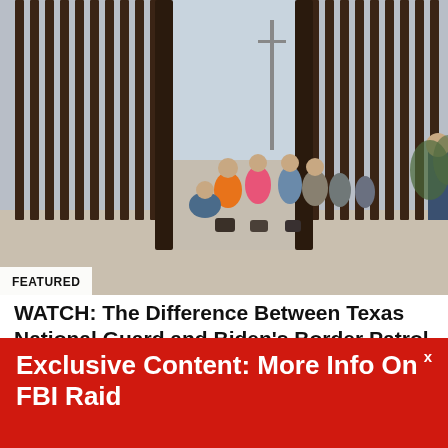[Figure (photo): Photo of migrants gathered at a border fence/wall, some wearing masks and carrying bags and backpacks. A large metal border fence with vertical bars is visible. The image shows a group of people near an opening in the fence.]
FEATURED
WATCH: The Difference Between Texas National Guard and Biden's Border Patrol in One Stark Video
[Figure (photo): Partial photo showing people holding a protest sign reading 'Say NO to...' The image is partially obscured by the red banner overlay.]
Exclusive Content: More Info On FBI Raid